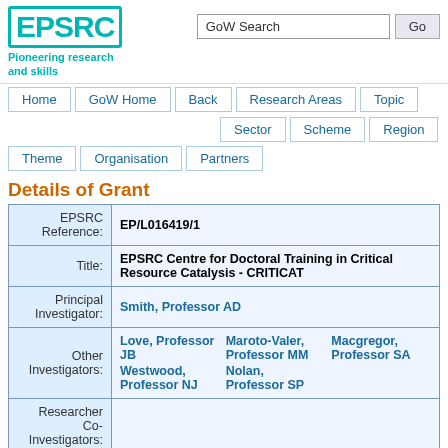[Figure (logo): EPSRC logo with teal border and tagline 'Pioneering research and skills']
GoW Search [input field] Go [button]
Home | GoW Home | Back | Research Areas | Topic | Sector | Scheme | Region | Theme | Organisation | Partners
Details of Grant
| Field | Value |
| --- | --- |
| EPSRC Reference: | EP/L016419/1 |
| Title: | EPSRC Centre for Doctoral Training in Critical Resource Catalysis - CRITICAT |
| Principal Investigator: | Smith, Professor AD |
| Other Investigators: | Love, Professor JB | Maroto-Valer, Professor MM | Macgregor, Professor SA | Westwood, Professor NJ | Nolan, Professor SP |
| Researcher Co-Investigators: |  |